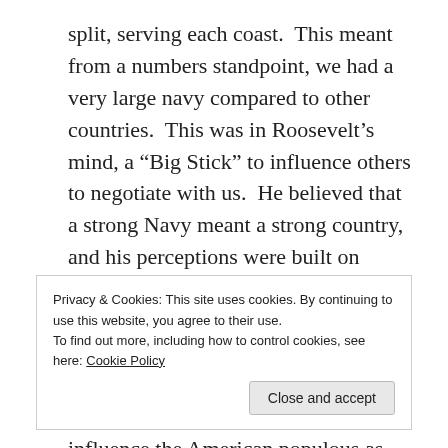split, serving each coast.  This meant from a numbers standpoint, we had a very large navy compared to other countries.  This was in Roosevelt’s mind, a “Big Stick” to influence others to negotiate with us.  He believed that a strong Navy meant a strong country, and his perceptions were built on centuries of reality.  Now, in the U.S., we had a very large Navy and a Vice President with a proven military track record (Col., Spanish American War Rough Riders) and an ability to influence the American populous as well as international leaders.
Privacy & Cookies: This site uses cookies. By continuing to use this website, you agree to their use. To find out more, including how to control cookies, see here: Cookie Policy